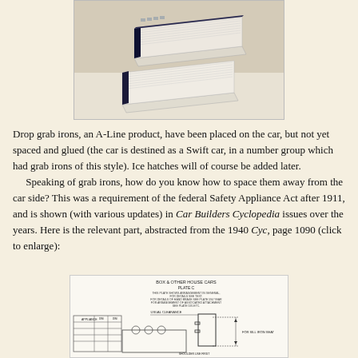[Figure (photo): Photo of books or model railroad car parts stacked at an angle, showing pages/covers]
Drop grab irons, an A-Line product, have been placed on the car, but not yet spaced and glued (the car is destined as a Swift car, in a number group which had grab irons of this style). Ice hatches will of course be added later.
    Speaking of grab irons, how do you know how to space them away from the car side? This was a requirement of the federal Safety Appliance Act after 1911, and is shown (with various updates) in Car Builders Cyclopedia issues over the years. Here is the relevant part, abstracted from the 1940 Cyc, page 1090 (click to enlarge):
[Figure (engineering-diagram): Engineering diagram from Car Builders Cyclopedia showing grab iron clearance specifications for box and other house cars, Plate C, page 1090]